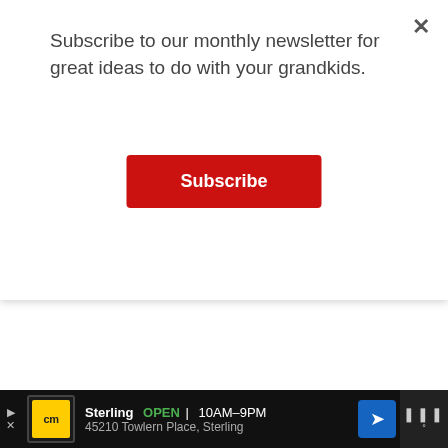Subscribe to our monthly newsletter for great ideas to do with your grandkids.
Subscribe
NUTRITION
Serving: 1g
Calories: 303kcal
Sterling OPEN | 10AM–9PM 45210 Towlern Place, Sterling